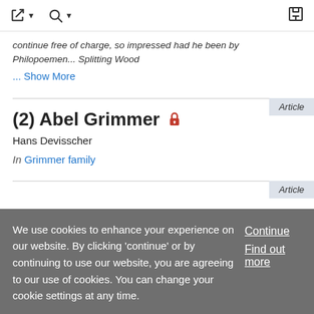toolbar with navigation icons
continue free of charge, so impressed had he been by Philopoemen... Splitting Wood
... Show More
(2) Abel Grimmer
Hans Devisscher
In Grimmer family
We use cookies to enhance your experience on our website. By clicking 'continue' or by continuing to use our website, you are agreeing to our use of cookies. You can change your cookie settings at any time.
Continue
Find out more